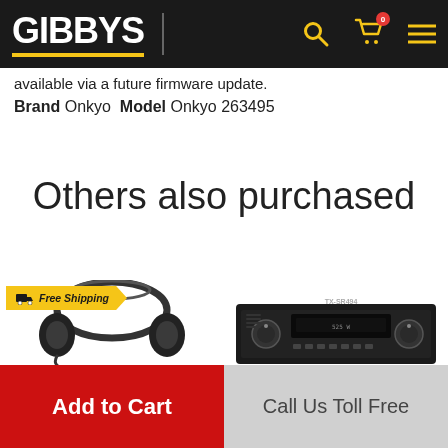GIBBYS
available via a future firmware update.
Brand Onkyo  Model Onkyo 263495
Others also purchased
[Figure (photo): Headphones product image with Free Shipping badge]
[Figure (photo): AV Receiver product image]
Add to Cart
Call Us Toll Free